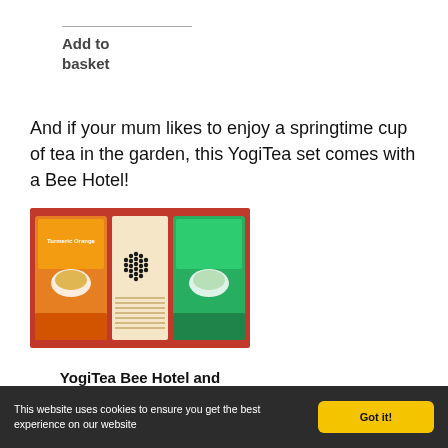Add to basket
And if your mum likes to enjoy a springtime cup of tea in the garden, this YogiTea set comes with a Bee Hotel!
[Figure (photo): YogiTea Bee Hotel and Tea Gift Set product photo showing two tea boxes and a bee hotel with heart pattern]
YogiTea Bee Hotel and Tea Gift Set
This website uses cookies to ensure you get the best experience on our website
Got it!